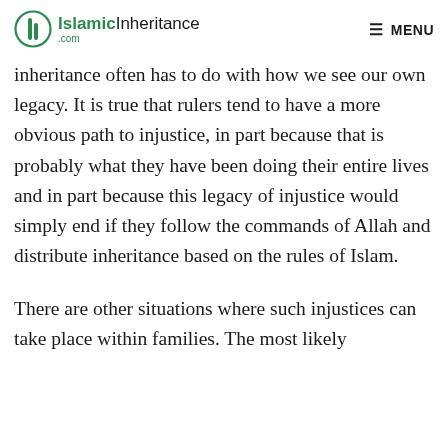IslamicInheritance.com   MENU
inheritance often has to do with how we see our own legacy. It is true that rulers tend to have a more obvious path to injustice, in part because that is probably what they have been doing their entire lives and in part because this legacy of injustice would simply end if they follow the commands of Allah and distribute inheritance based on the rules of Islam.
There are other situations where such injustices can take place within families. The most likely